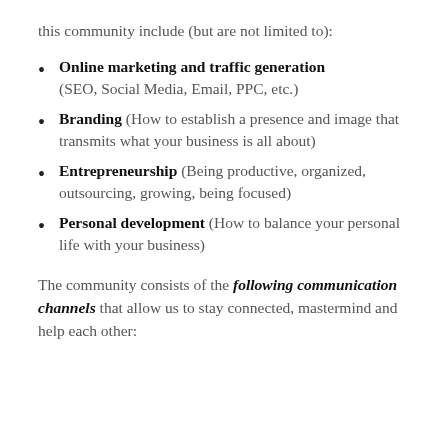this community include (but are not limited to):
Online marketing and traffic generation (SEO, Social Media, Email, PPC, etc.)
Branding (How to establish a presence and image that transmits what your business is all about)
Entrepreneurship (Being productive, organized, outsourcing, growing, being focused)
Personal development (How to balance your personal life with your business)
The community consists of the following communication channels that allow us to stay connected, mastermind and help each other: